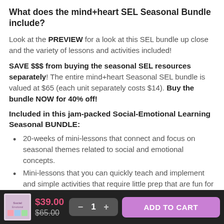What does the mind+heart SEL Seasonal Bundle include?
Look at the PREVIEW for a look at this SEL bundle up close and the variety of lessons and activities included!
SAVE $$$ from buying the seasonal SEL resources separately! The entire mind+heart Seasonal SEL bundle is valued at $65 (each unit separately costs $14). Buy the bundle NOW for 40% off!
Included in this jam-packed Social-Emotional Learning Seasonal BUNDLE:
20-weeks of mini-lessons that connect and focus on seasonal themes related to social and emotional concepts.
Mini-lessons that you can quickly teach and implement and simple activities that require little prep that are fun for kids!
Kids will enjoy the meaningful activities that help them
$39.00  $65.00  — 1 +  ADD TO CART